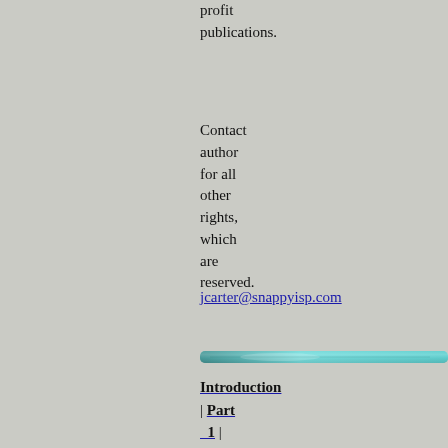for profit publications.
Contact author for all other rights, which are reserved.
jcarter@snappyisp.com
[Figure (other): Decorative horizontal bar/divider with teal/cyan metallic appearance]
Introduction | Part 1 | Part 2 | Part 3 | Part 4